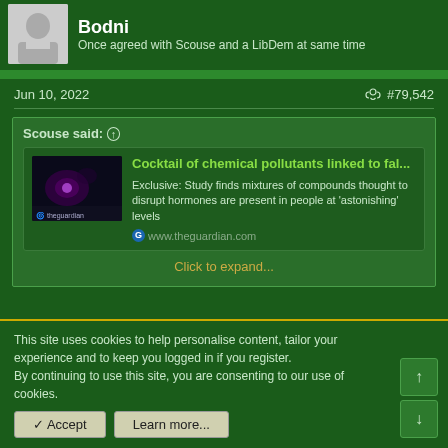Bodni
Once agreed with Scouse and a LibDem at same time
Jun 10, 2022   #79,542
Scouse said: ↑
[Figure (screenshot): Embedded link preview to Guardian article about chemical pollutants]
Cocktail of chemical pollutants linked to fal...
Exclusive: Study finds mixtures of compounds thought to disrupt hormones are present in people at 'astonishing' levels
www.theguardian.com
Click to expand...
This site uses cookies to help personalise content, tailor your experience and to keep you logged in if you register.
By continuing to use this site, you are consenting to our use of cookies.